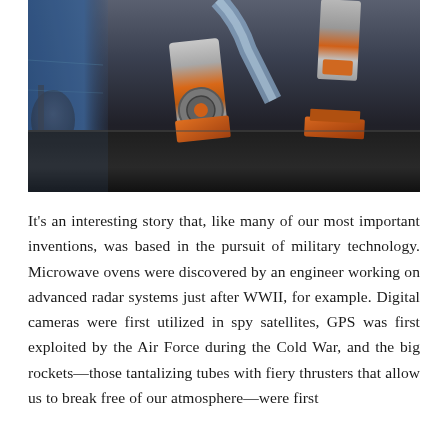[Figure (photo): A photograph of mechanical engine or rocket parts—cutaway cross-sections showing internal components with orange accents—displayed on a dark table surface. Blue wall visible in background on the left.]
It's an interesting story that, like many of our most important inventions, was based in the pursuit of military technology. Microwave ovens were discovered by an engineer working on advanced radar systems just after WWII, for example. Digital cameras were first utilized in spy satellites, GPS was first exploited by the Air Force during the Cold War, and the big rockets—those tantalizing tubes with fiery thrusters that allow us to break free of our atmosphere—were first